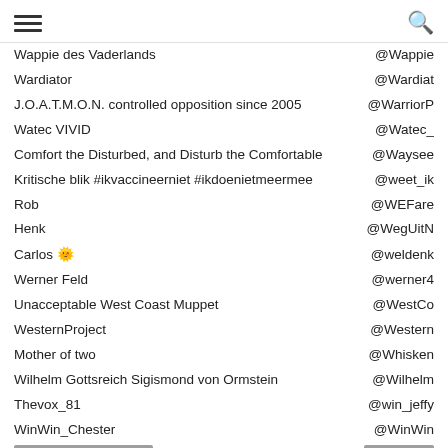[hamburger menu] [search icon]
Wappie des Vaderlands | @Wappie...
Wardiator | @Wardiat...
J.O.A.T.M.O.N. controlled opposition since 2005 | @WarriorP...
Watec VIVID | @Watec_...
Comfort the Disturbed, and Disturb the Comfortable | @Waysee...
Kritische blik #ikvaccineerniet #ikdoenietmeermee | @weet_ik...
Rob | @WEFare...
Henk | @WegUitN...
Carlos 🌟 | @weldenk...
Werner Feld | @werner4...
Unacceptable West Coast Muppet | @WestCo...
WesternProject | @Western...
Mother of two | @Whisken...
Wilhelm Gottsreich Sigismond von Ormstein | @Wilhelm...
Thevox_81 | @win_jeffy...
WinWin_Chester | @WinWin...
Manchester Chronicle | @WithyGr...
Stefan We're getting pushed into WW3! | @wizard_...
RulerRebel | @Wkoevo...